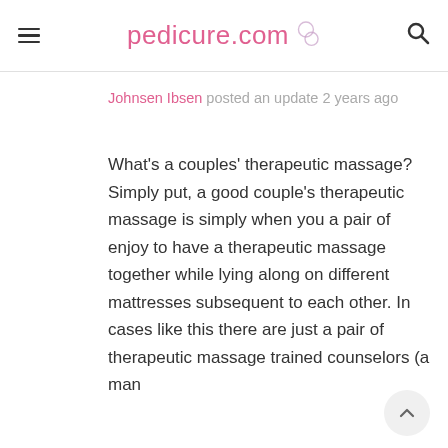pedicure.com
Johnsen Ibsen posted an update 2 years ago
What's a couples' therapeutic massage? Simply put, a good couple's therapeutic massage is simply when you a pair of enjoy to have a therapeutic massage together while lying along on different mattresses subsequent to each other. In cases like this there are just a pair of therapeutic massage trained counselors (a man